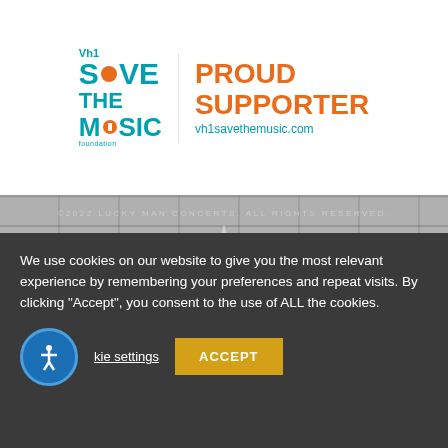[Figure (logo): VH1 Save The Music Foundation - Proud Supporter logo with teal and orange text, website vh1savethemusic.com]
[Figure (illustration): Painted white brick wall background with a white star in the center and two horizontal lines crossing through the star]
©2022 LUCKY MAN CONCERTS. ALL RIGHTS RESERVED.
We use cookies on our website to give you the most relevant experience by remembering your preferences and repeat visits. By clicking "Accept", you consent to the use of ALL the cookies.
Cookie settings  ACCEPT